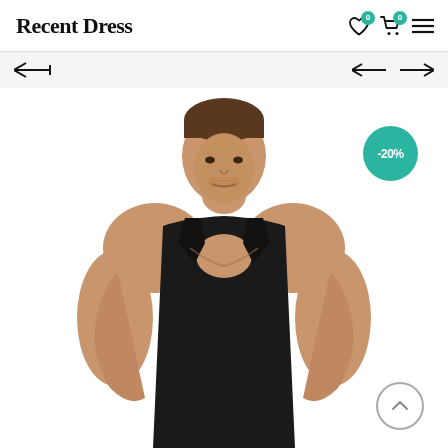Recent Dress
[Figure (photo): Muscular man wearing a black sleeveless tank top / stringer, photographed from waist up against a white background. A teal circular badge with '-20%' discount label is overlaid top-right of the product image.]